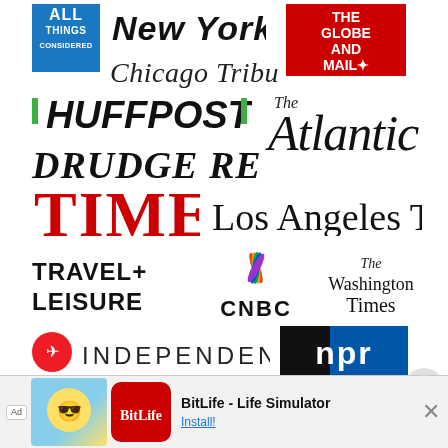[Figure (logo): All Things Considered logo - blue square with white text]
[Figure (logo): New York Post logo - italic black bold text]
[Figure (logo): The Globe and Mail logo - red square with white text]
[Figure (logo): Chicago Tribune logo - serif italic text]
[Figure (logo): HuffPost logo - green bars flanking bold italic text]
[Figure (logo): The Atlantic logo - script serif text]
[Figure (logo): Drudge Report logo - bold italic black text]
[Figure (logo): TIME logo - large red serif text]
[Figure (logo): Los Angeles Times logo - old-english serif text]
[Figure (logo): Travel + Leisure logo - bold black text]
[Figure (logo): CNBC logo with NBC peacock feather icon]
[Figure (logo): The Washington Times logo - old-english serif text]
[Figure (logo): Independent logo - red icon with bold spaced text]
[Figure (logo): NPR logo - blue/black rectangle with white lowercase text]
[Figure (logo): Morning Edition logo - blue text with caret accents]
[Figure (logo): Forbes logo - black serif text]
[Figure (logo): People logo - cyan bold italic text]
[Figure (logo): The Economist logo - red rectangle with white serif text]
Ad  BitLife - Life Simulator  Install!